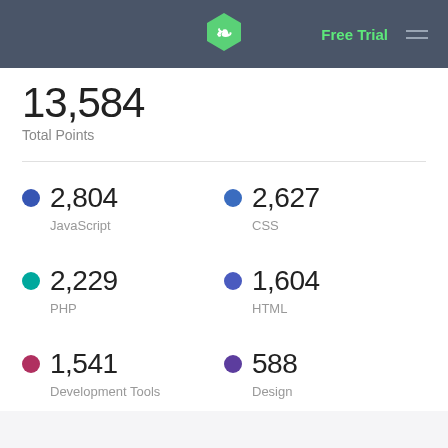Free Trial
13,584
Total Points
2,804 JavaScript
2,627 CSS
2,229 PHP
1,604 HTML
1,541 Development Tools
588 Design